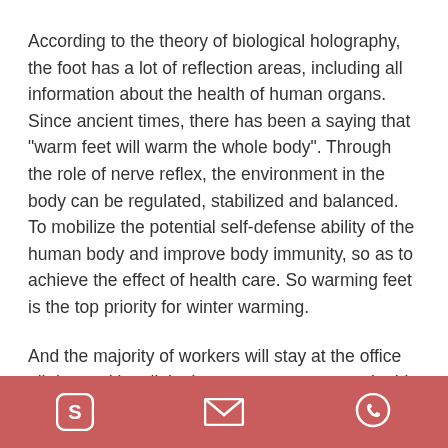According to the theory of biological holography, the foot has a lot of reflection areas, including all information about the health of human organs. Since ancient times, there has been a saying that "warm feet will warm the whole body". Through the role of nerve reflex, the environment in the body can be regulated, stabilized and balanced. To mobilize the potential self-defense ability of the human body and improve body immunity, so as to achieve the effect of health care. So warming feet is the top priority for winter warming.
And the majority of workers will stay at the office all day and has little time to move or go out. In this way, the feet that are not warm are more cold, which affect the work efficiency and affect their health.
[Skype icon] [Email icon] [WhatsApp icon]